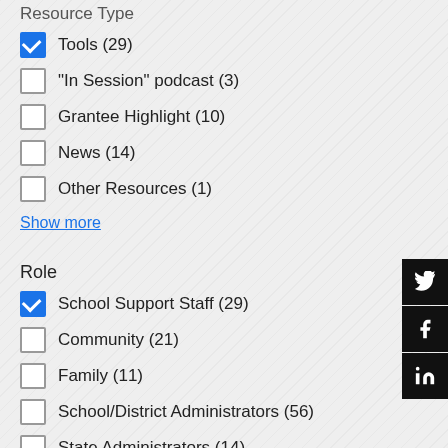Resource Type
Tools (29) [checked]
"In Session" podcast (3)
Grantee Highlight (10)
News (14)
Other Resources (1)
Show more
Role
School Support Staff (29) [checked]
Community (21)
Family (11)
School/District Administrators (56)
State Administrators (14)
Show more